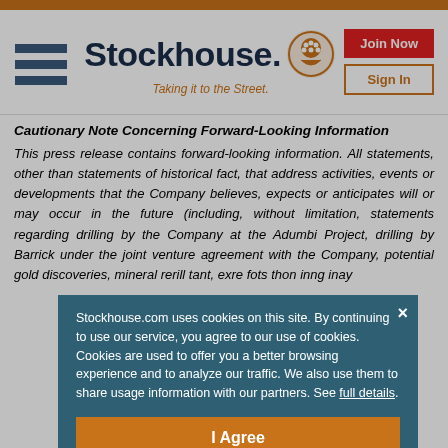Stockhouse - Taking it to the Street.
Cautionary Note Concerning Forward-Looking Information
This press release contains forward-looking information. All statements, other than statements of historical fact, that address activities, events or developments that the Company believes, expects or anticipates will or may occur in the future (including, without limitation, statements regarding drilling by the Company at the Adumbi Project, drilling by Barrick under the joint venture agreement with the Company, potential gold discoveries, mineral re...rill ta...nt, ex...re fo...ts th...on in...ng in...ay
Stockhouse.com uses cookies on this site. By continuing to use our service, you agree to our use of cookies. Cookies are used to offer you a better browsing experience and to analyze our traffic. We also use them to share usage information with our partners. See full details.